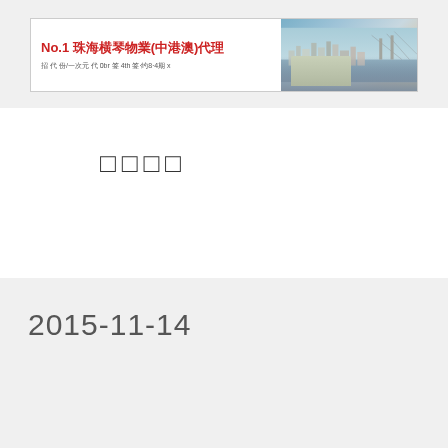[Figure (illustration): Banner with red bold text 'No.1 珠海横琴物業(中港澳)代理' and smaller subtitle text on left, cityscape/harbor aerial photo on right]
□□□□
2015-11-14